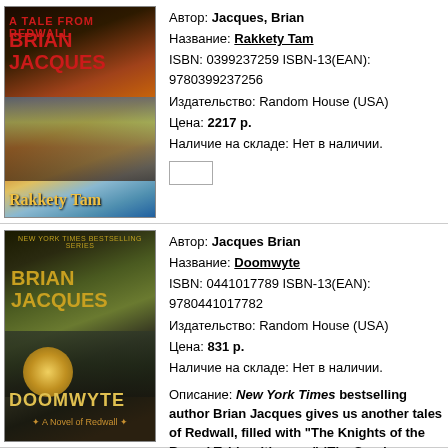[Figure (illustration): Book cover of Rakkety Tam by Brian Jacques, showing a warrior squirrel with a sword, dark fantasy illustration]
Автор: Jacques, Brian
Название: Rakkety Tam
ISBN: 0399237259 ISBN-13(EAN): 9780399237256
Издательство: Random House (USA)
Цена: 2217 р.
Наличие на складе: Нет в наличии.
[Figure (illustration): Book cover of Doomwyte by Brian Jacques, showing a creature with glowing eyes, dark green tones]
Автор: Jacques Brian
Название: Doomwyte
ISBN: 0441017789 ISBN-13(EAN): 9780441017782
Издательство: Random House (USA)
Цена: 831 р.
Наличие на складе: Нет в наличии.

Описание: New York Times bestselling author Brian Jacques gives us another tales of Redwall, filled with "The Knights of the Round Table with paws" (The Sunday Times) along with their friends and enemies.